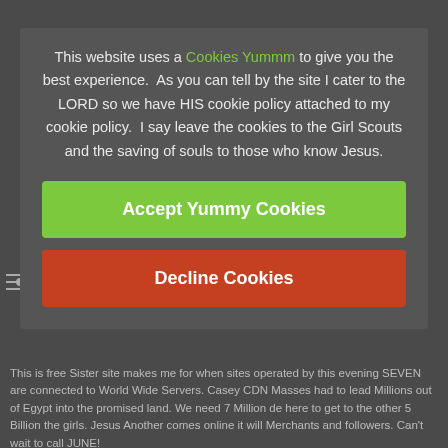This website uses a Cookies Yummm to give you the best experience.  As you can tell by the site I cater to the LORD so we have HIS cookie policy attached to my cookie policy.  I say leave the cookies to the Girl Scouts and the saving of souls to those who know Jesus.
Accept Yummy Cookies
Decline Cookies
This is free Sister site makes me for when sites operated by this evening SEVEN are connected to World Wide Servers. Casey CDN Masses had to lead Millions out of Egypt into the promised land. We need 7 Million de here to get to the other 5 Billion the girls. Jesus Another comes online it will Merchants and followers. Can't wait to call JUNE!
This is Saints TRIUMF 3 is one of the most powerful accelerators. and easily combined into LOVE to solve...than you, its dear